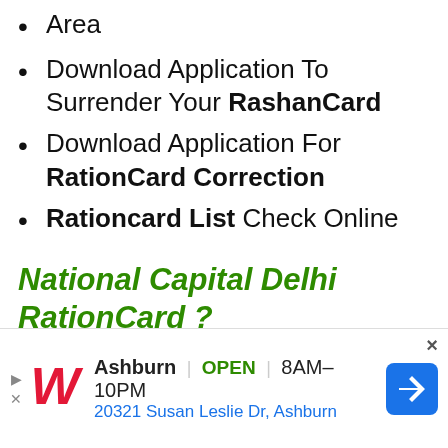Area
Download Application To Surrender Your RashanCard
Download Application For RationCard Correction
Rationcard List Check Online
National Capital Delhi RationCard ?
Rashan Card Application Form Online Download
Download Application Form For
[Figure (other): Advertisement banner for Walgreens Ashburn location showing store name, open status, hours 8AM-10PM, address 20321 Susan Leslie Dr, Ashburn, with navigation arrow icon]